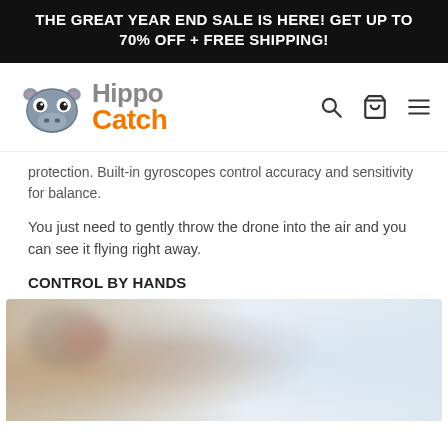THE GREAT YEAR END SALE IS HERE! GET UP TO 70% OFF + FREE SHIPPING!
[Figure (logo): HippoCatch logo with hippo cartoon icon and brand name in gray and orange]
protection. Built-in gyroscopes control accuracy and sensitivity for balance.
You just need to gently throw the drone into the air and you can see it flying right away.
CONTROL BY HANDS
[Figure (photo): Blurred photo showing a person holding or interacting with a drone]